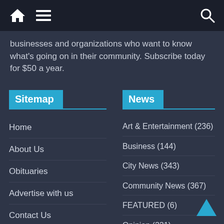[Figure (screenshot): Top navigation bar with home icon, hamburger menu icon, and search icon on dark background]
businesses and organizations who want to know what's going on in their community. Subscribe today for $50 a year.
Sitemap
Home
About Us
Obituaries
Advertise with us
Contact Us
Jooble Job Search
News
Art & Entertainment (236)
Business (144)
City News (343)
Community News (367)
FEATURED (6)
Opinion (221)
Politics (168)